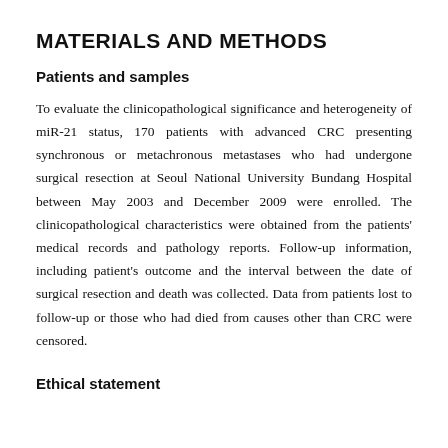MATERIALS AND METHODS
Patients and samples
To evaluate the clinicopathological significance and heterogeneity of miR-21 status, 170 patients with advanced CRC presenting synchronous or metachronous metastases who had undergone surgical resection at Seoul National University Bundang Hospital between May 2003 and December 2009 were enrolled. The clinicopathological characteristics were obtained from the patients' medical records and pathology reports. Follow-up information, including patient's outcome and the interval between the date of surgical resection and death was collected. Data from patients lost to follow-up or those who had died from causes other than CRC were censored.
Ethical statement